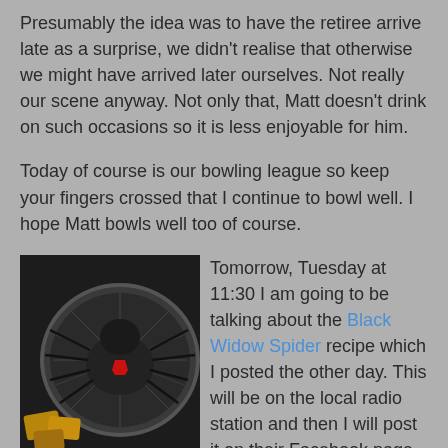Presumably the idea was to have the retiree arrive late as a surprise, we didn't realise that otherwise we might have arrived later ourselves. Not really our scene anyway. Not only that, Matt doesn't drink on such occasions so it is less enjoyable for him.
Today of course is our bowling league so keep your fingers crossed that I continue to bowl well. I hope Matt bowls well too of course.
[Figure (photo): A black widow spider-shaped food item in a round metal pan, with what appears to be crackers or chips alongside it. The spider has a red marking on its back.]
Tomorrow, Tuesday at 11:30 I am going to be talking about the Black Widow Spider recipe which I posted the other day. This will be on the local radio station and then I will post it on their Facebook page. I must admit I think it is one of the best Hallowe'en recipes I have ever seen. I even found myself looking at twigs to make the legs the other day even though I will not be making it. There's only us after all.
Here's something very different – we enjoy stuffed vine